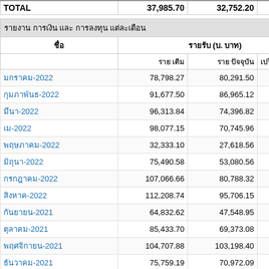| ชื่อ | รายรับ (บ. บาท) |  |  |
| --- | --- | --- | --- |
| TOTAL | 37,985.70 | 32,752.20 | 5,23 |
| ชื่อ | รายรับ เดิม | รายรับ ปัจจุบัน | เปรียบเทียบ รายรับ / ... |
| มกราคม-2022 | 78,798.27 | 80,291.50 | -1,493 |
| กุมภาพันธ์-2022 | 91,677.50 | 86,965.12 | 4,712 |
| มีนา-2022 | 96,313.84 | 74,396.82 | 21,917 |
| เม-2022 | 98,077.15 | 70,745.96 | 27,331 |
| พฤษภาคม-2022 | 32,333.10 | 27,618.56 | 4,714 |
| มิถุนา-2022 | 75,490.58 | 53,080.56 | 22,410 |
| กรกฎาคม-2022 | 107,066.66 | 80,788.32 | 26,278 |
| สิงหาค-2022 | 112,208.74 | 95,706.15 | 16,502 |
| กันยายน-2021 | 64,832.62 | 47,548.95 | 17,283 |
| ตุลาคม-2021 | 85,433.70 | 69,373.08 | 16,060 |
| พฤศจิกายน-2021 | 104,707.88 | 103,198.40 | 1,509 |
| ธันวาคม-2021 | 75,759.19 | 70,972.09 | 4,787 |
| มกรา-2021 | 99,119.53 | 87,573.68 | 11,545 |
| กุมภา-2021 | 84,691.53 | 69,260.53 | 15,431 |
| มีนา-2021 | 20,726.86 | 21,847.26 | -1,120 |
| เม-2021 | 74,835.88 | 74,676.77 | 159 |
| พฤษภาคม-2021 | 60,954.13 | 55,020.75 | 5,933 |
| มิถุนา-2021 | 76,583.04 | 74,106.59 | 2,476 |
| กรกฎา-2021 | 73,584.79 | 89,890.82 | -16,306 |